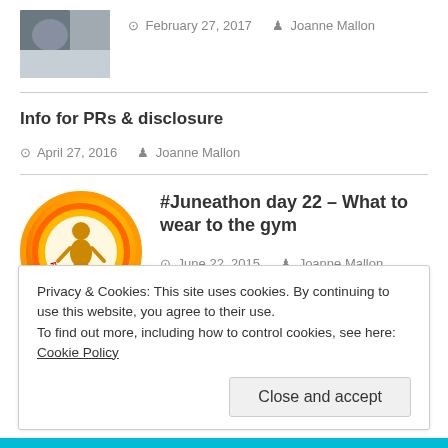[Figure (photo): Thumbnail photo, dark/grey, top-left area]
February 27, 2017   Joanne Mallon
Info for PRs & disclosure
April 27, 2016   Joanne Mallon
[Figure (illustration): Juneathon Participant badge - circular badge with orange border and figure]
#Juneathon day 22 – What to wear to the gym
June 22, 2015   Joanne Mallon
Privacy & Cookies: This site uses cookies. By continuing to use this website, you agree to their use.
To find out more, including how to control cookies, see here: Cookie Policy